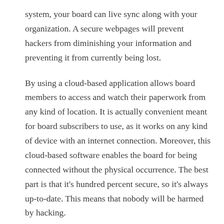system, your board can live sync along with your organization. A secure webpages will prevent hackers from diminishing your information and preventing it from currently being lost.
By using a cloud-based application allows board members to access and watch their paperwork from any kind of location. It is actually convenient meant for board subscribers to use, as it works on any kind of device with an internet connection. Moreover, this cloud-based software enables the board for being connected without the physical occurrence. The best part is that it's hundred percent secure, so it's always up-to-date. This means that nobody will be harmed by hacking.
With a web platform, you can access and promote board reaching documents to board people. It has an integrated chat function, which allows board members to communicate with each other from any kind of location. In addition, it enables users to collaborate with other members slightly. It's also important to